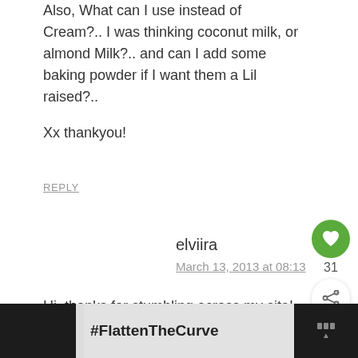Also, What can I use instead of Cream?.. I was thinking coconut milk, or almond Milk?.. and can I add some baking powder if I want them a Lil raised?..
Xx thankyou!
REPLY
elviira
March 13, 2013 at 08:13
Hi, thanks for stumbling across my site! I'm not genius, I just like to do things 🙂
[Figure (other): Like button (heart icon, green circle) with count 31 and share button]
[Figure (other): Advertisement banner at bottom: #FlattenTheCurve with handwashing image, dark background on left and right sides]